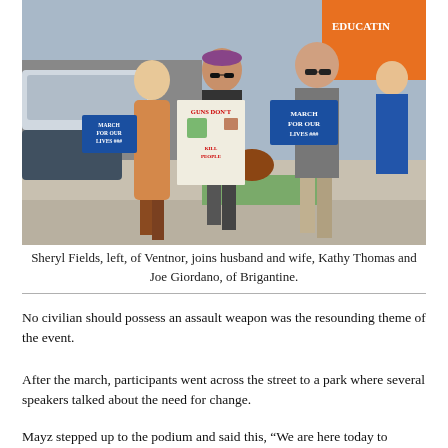[Figure (photo): Protesters marching on a street holding 'March For Our Lives' signs and a poster reading 'Guns Don't Kill People'. Multiple participants visible including Sheryl Fields, Kathy Thomas, and Joe Giordano.]
Sheryl Fields, left, of Ventnor, joins husband and wife, Kathy Thomas and Joe Giordano, of Brigantine.
No civilian should possess an assault weapon was the resounding theme of the event.
After the march, participants went across the street to a park where several speakers talked about the need for change.
Mayz stepped up to the podium and said this, “We are here today to